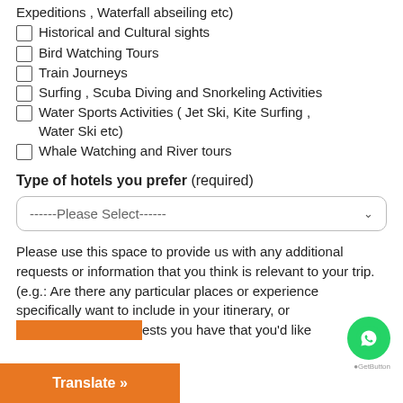Expeditions , Waterfall abseiling etc)
Historical and Cultural sights
Bird Watching Tours
Train Journeys
Surfing , Scuba Diving and Snorkeling Activities
Water Sports Activities ( Jet Ski, Kite Surfing , Water Ski etc)
Whale Watching and River tours
Type of hotels you prefer (required)
------Please Select------
Please use this space to provide us with any additional requests or information that you think is relevant to your trip.
(e.g.: Are there any particular places or experiences you specifically want to include in your itinerary, or any special requests you have that you'd like